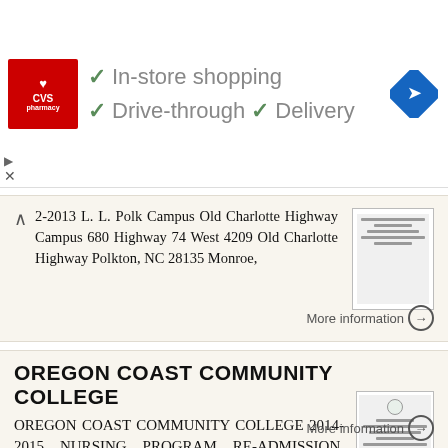[Figure (screenshot): CVS Pharmacy advertisement banner showing In-store shopping, Drive-through, and Delivery checkmarks with CVS logo and navigation icon]
2-2013 L. L. Polk Campus Old Charlotte Highway Campus 680 Highway 74 West 4209 Old Charlotte Highway Polkton, NC 28135 Monroe,
More information →
OREGON COAST COMMUNITY COLLEGE
OREGON COAST COMMUNITY COLLEGE 2014-2015 NURSING PROGRAM RE-ADMISSION, ADVANCED PLACEMENT, AND TRANSFER STUDENTS POLICIES AND APPLICATION APPROVED AND SUBMITTED AUGUST 2014 ADAPTED WITH PERMISSION FROM
More information →